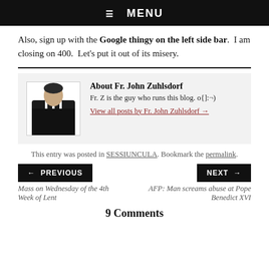☰  MENU
Also, sign up with the Google thingy on the left side bar.  I am closing on 400.  Let's put it out of its misery.
[Figure (photo): Author photo of Fr. John Zuhlsdorf — a man in black clerical clothing with white collar]
About Fr. John Zuhlsdorf
Fr. Z is the guy who runs this blog. o{]:¬)
View all posts by Fr. John Zuhlsdorf →
This entry was posted in SESSIUNCULA. Bookmark the permalink.
← PREVIOUS
Mass on Wednesday of the 4th Week of Lent
NEXT →
AFP: Man screams abuse at Pope Benedict XVI
9 Comments